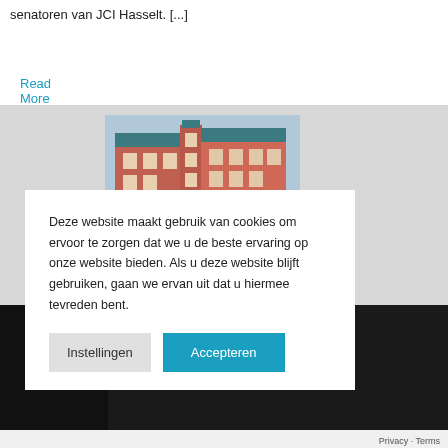senatoren van JCI Hasselt. [...]
Read More >
[Figure (photo): A photograph showing a presentation/event setting with a projection screen displaying an illustrated image of a red brick building with a teal roof (appears to be a historic town hall or similar building). The photo has dark sides typical of an auditorium or conference room.]
Deze website maakt gebruik van cookies om ervoor te zorgen dat we u de beste ervaring op onze website bieden. Als u deze website blijft gebruiken, gaan we ervan uit dat u hiermee tevreden bent.
Instellingen
Accepteren
Privacy · Terms